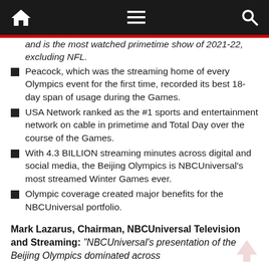Navigation bar with home, menu, and search icons
and is the most watched primetime show of 2021-22, excluding NFL.
Peacock, which was the streaming home of every Olympics event for the first time, recorded its best 18-day span of usage during the Games.
USA Network ranked as the #1 sports and entertainment network on cable in primetime and Total Day over the course of the Games.
With 4.3 BILLION streaming minutes across digital and social media, the Beijing Olympics is NBCUniversal's most streamed Winter Games ever.
Olympic coverage created major benefits for the NBCUniversal portfolio.
Mark Lazarus, Chairman, NBCUniversal Television and Streaming: “NBCUniversal’s presentation of the Beijing Olympics dominated across